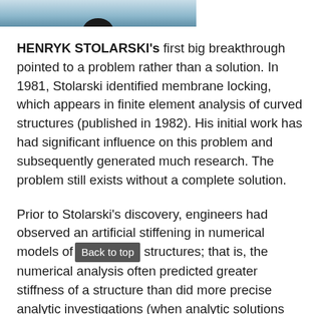[Figure (photo): Bottom portion of a photograph showing a person, cropped at the top of the page]
HENRYK STOLARSKI's first big breakthrough pointed to a problem rather than a solution. In 1981, Stolarski identified membrane locking, which appears in finite element analysis of curved structures (published in 1982). His initial work has had significant influence on this problem and subsequently generated much research. The problem still exists without a complete solution.
Prior to Stolarski's discovery, engineers had observed an artificial stiffening in numerical models of structures; that is, the numerical analysis often predicted greater stiffness of a structure than did more precise analytic investigations (when analytic solutions were possible). It was generally assumed that the observed stiffening was due to shear effects or shear